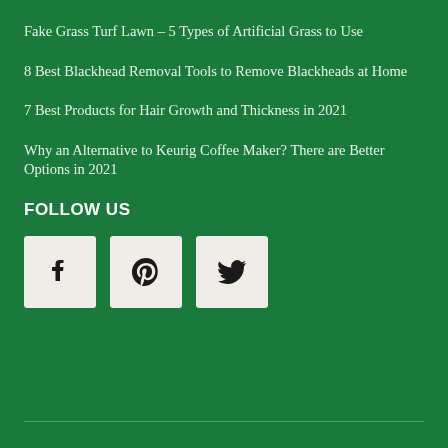Fake Grass Turf Lawn – 5 Types of Artificial Grass to Use
8 Best Blackhead Removal Tools to Remove Blackheads at Home
7 Best Products for Hair Growth and Thickness in 2021
Why an Alternative to Keurig Coffee Maker? There are Better Options in 2021
FOLLOW US
[Figure (other): Social media icons: Facebook, Pinterest, Twitter in light beige square boxes]